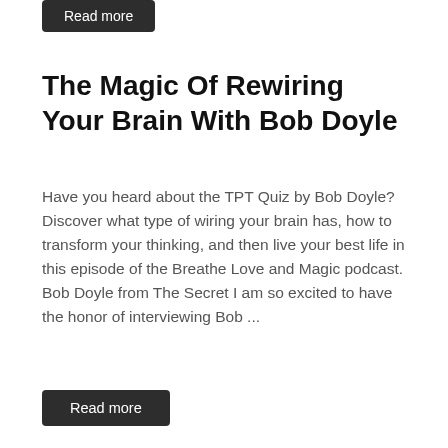Read more
The Magic Of Rewiring Your Brain With Bob Doyle
Have you heard about the TPT Quiz by Bob Doyle? Discover what type of wiring your brain has, how to transform your thinking, and then live your best life in this episode of the Breathe Love and Magic podcast. Bob Doyle from The Secret I am so excited to have the honor of interviewing Bob ...
Read more